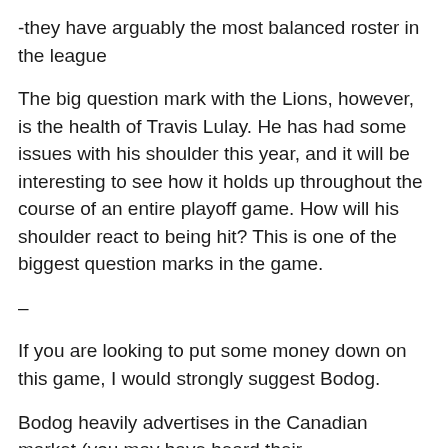-they have arguably the most balanced roster in the league
The big question mark with the Lions, however, is the health of Travis Lulay. He has had some issues with his shoulder this year, and it will be interesting to see how it holds up throughout the course of an entire playoff game. How will his shoulder react to being hit? This is one of the biggest question marks in the game.
–
If you are looking to put some money down on this game, I would strongly suggest Bodog.
Bodog heavily advertises in the Canadian market (you may have heard their advertisements on your favorite local sports radio station) and always offers odds on CFL games. The company, which has been in business for many years, is